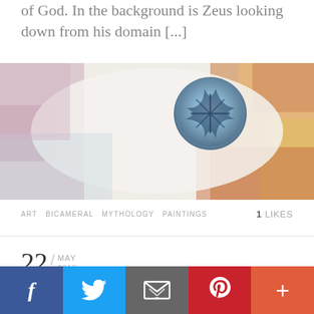of God. In the background is Zeus looking down from his domain [...]
[Figure (photo): Close-up of a colorful abstract painting showing a circular form in blue against a white and multicolored background with rainbow-like hues of blue, pink, orange, and yellow.]
ART  BICAMERAL  MYTHOLOGY  PAINTINGS    1 LIKES
22 / MAY 2018
Orpheus Eurydice
[Figure (infographic): Social media sharing bar with Facebook (blue), Twitter (light blue), Email (dark gray), Pinterest (red), and More (orange-red) buttons.]